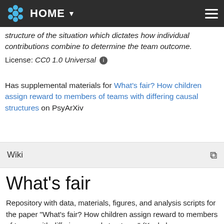HOME
structure of the situation which dictates how individual contributions combine to determine the team outcome.
License: CC0 1.0 Universal
Has supplemental materials for What's fair? How children assign reward to members of teams with differing causal structures on PsyArXiv
Wiki
What's fair
Repository with data, materials, figures, and analysis scripts for the paper "What's fair? How children assign reward to members of teams with differing causal structures" (Koskuba, Gerstenberg, Gordon, Lagnado, Schlottmann). If you have any questions, please contact tger@mit.edu.